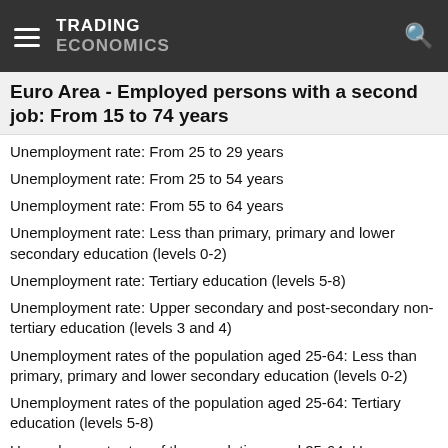TRADING ECONOMICS
Euro Area - Employed persons with a second job: From 15 to 74 years
Unemployment rate: From 25 to 29 years
Unemployment rate: From 25 to 54 years
Unemployment rate: From 55 to 64 years
Unemployment rate: Less than primary, primary and lower secondary education (levels 0-2)
Unemployment rate: Tertiary education (levels 5-8)
Unemployment rate: Upper secondary and post-secondary non-tertiary education (levels 3 and 4)
Unemployment rates of the population aged 25-64: Less than primary, primary and lower secondary education (levels 0-2)
Unemployment rates of the population aged 25-64: Tertiary education (levels 5-8)
Unemployment rates of the population aged 25-64: Upper secondary and post-secondary non-tertiary education (levels 3 and 4)
Unemployment: Less than 25 years